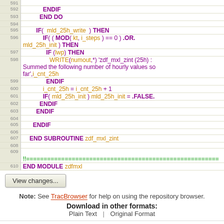[Figure (screenshot): Code viewer showing Fortran source code lines 591-610 with syntax highlighting. Keywords in purple/magenta, identifiers in orange/brown, comments in green.]
View changes...
Note: See TracBrowser for help on using the repository browser.
Download in other formats:
Plain Text | Original Format
Powered by Trac 1.0.1 | Visit the Trac open source project at
By Edgewall Software | http://trac.edgewall.org/